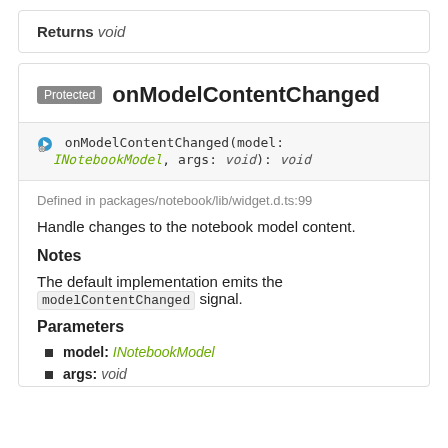Returns void
Protected onModelContentChanged
onModelContentChanged(model: INotebookModel, args: void): void
Defined in packages/notebook/lib/widget.d.ts:99
Handle changes to the notebook model content.
Notes
The default implementation emits the modelContentChanged signal.
Parameters
model: INotebookModel
args: void